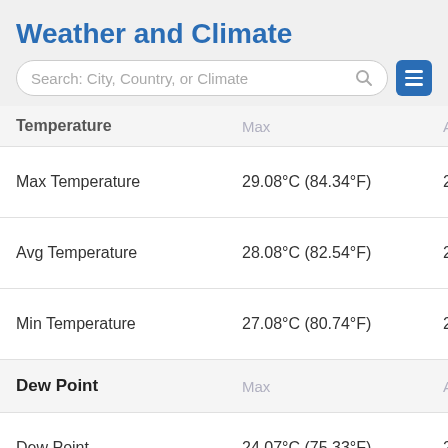Weather and Climate
Search: City, Country, or Climate
| Temperature | Max | Ave |
| --- | --- | --- |
| Max Temperature | 29.08°C (84.34°F) | 28.5 |
| Avg Temperature | 28.08°C (82.54°F) | 27.6 |
| Min Temperature | 27.08°C (80.74°F) | 26.4 |
| Dew Point | Max | Ave |
| --- | --- | --- |
| Dew Point | 24.07°C (75.33°F) | 23.3 |
| Precipitation | Max | Ave |
| --- | --- | --- |
| Precipitation | 47.93mm | 1.89in | 17.4 |